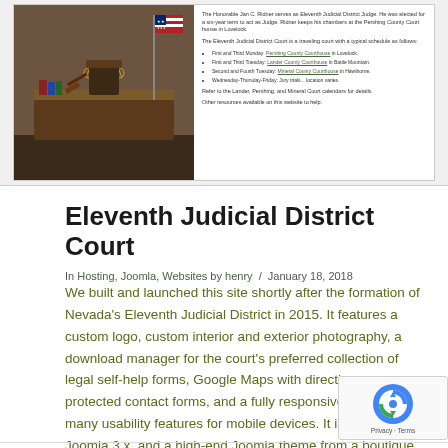[Figure (screenshot): Screenshot of the Eleventh Judicial District Court website showing a courtroom photo with an American flag and scales of justice, alongside text about Judge Ridner and court schedule with bullet points listing court locations.]
Eleventh Judicial District Court
In Hosting, Joomla, Websites by henry / January 18, 2018
We built and launched this site shortly after the formation of Nevada's Eleventh Judicial District in 2015. It features a custom logo, custom interior and exterior photography, a download manager for the court's preferred collection of legal self-help forms, Google Maps with directions, spam-protected contact forms, and a fully responsive design with many usability features for mobile devices. It is built on Joomla 3.x, and a high-end Joomla theme from a boutique theme shop.